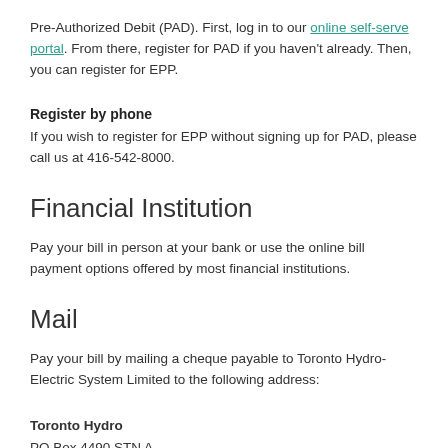Pre-Authorized Debit (PAD). First, log in to our online self-serve portal. From there, register for PAD if you haven't already. Then, you can register for EPP.
Register by phone
If you wish to register for EPP without signing up for PAD, please call us at 416-542-8000.
Financial Institution
Pay your bill in person at your bank or use the online bill payment options offered by most financial institutions.
Mail
Pay your bill by mailing a cheque payable to Toronto Hydro-Electric System Limited to the following address:
Toronto Hydro
PO Box 4490 STN A
Toronto ON M5W 4H3